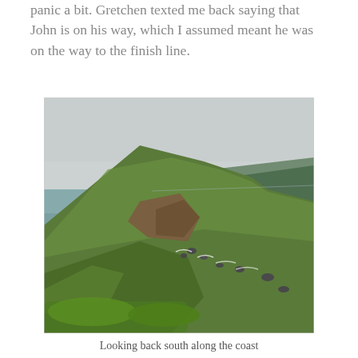panic a bit. Gretchen texted me back saying that John is on his way, which I assumed meant he was on the way to the finish line.
[Figure (photo): Coastal landscape photograph looking south along the California coast, showing green rolling hills and cliffs descending to the Pacific Ocean. The water is a grey-green color with whitecaps near the rocky shoreline. The sky is overcast and grey.]
Looking back south along the coast